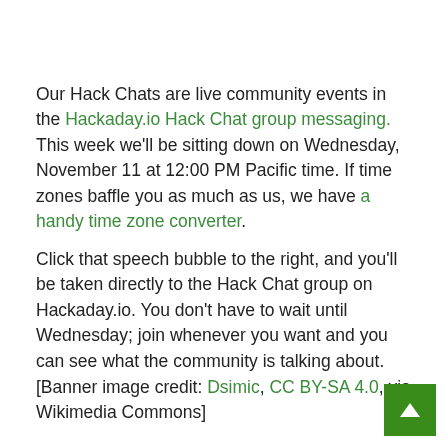Our Hack Chats are live community events in the Hackaday.io Hack Chat group messaging. This week we'll be sitting down on Wednesday, November 11 at 12:00 PM Pacific time. If time zones baffle you as much as us, we have a handy time zone converter.
Click that speech bubble to the right, and you'll be taken directly to the Hack Chat group on Hackaday.io. You don't have to wait until Wednesday; join whenever you want and you can see what the community is talking about.
[Banner image credit: Dsimic, CC BY-SA 4.0, via Wikimedia Commons]